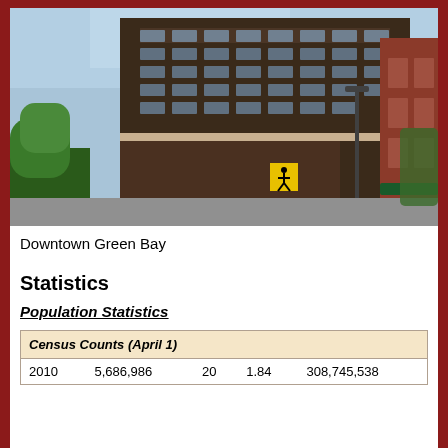[Figure (photo): Photograph of Downtown Green Bay showing a tall multi-story brick building at a street corner with trees and a pedestrian crossing sign visible]
Downtown Green Bay
Statistics
Population Statistics
| Census Counts (April 1) |  |  |  |  |
| --- | --- | --- | --- | --- |
| 2010 | 5,686,986 | 20 | 1.84 | 308,745,538 |